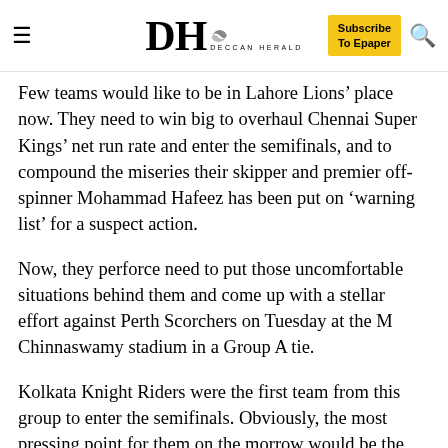DH DECCAN HERALD | Subscribe To Epaper
Few teams would like to be in Lahore Lions’ place now. They need to win big to overhaul Chennai Super Kings’ net run rate and enter the semifinals, and to compound the miseries their skipper and premier off-spinner Mohammad Hafeez has been put on ‘warning list’ for a suspect action.
Now, they perforce need to put those uncomfortable situations behind them and come up with a stellar effort against Perth Scorchers on Tuesday at the M Chinnaswamy stadium in a Group A tie.
Kolkata Knight Riders were the first team from this group to enter the semifinals. Obviously, the most pressing point for them on the morrow would be the run rate. Lions have six